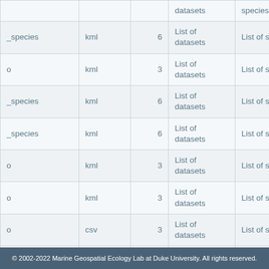| (name) | (format) | (num) | datasets | species | (id) |
| --- | --- | --- | --- | --- | --- |
|  |  |  | datasets | species |  |
| _species | kml | 6 | List of datasets | List of species | 621962b07 |
| o | kml | 3 | List of datasets | List of species | 621962b07 |
| _species | kml | 6 | List of datasets | List of species | 621962b07 |
| _species | kml | 6 | List of datasets | List of species | 621962b07 |
| o | kml | 3 | List of datasets | List of species | 6217acb07 |
| o | kml | 3 | List of datasets | List of species | 621652290 |
| o | csv | 3 | List of datasets | List of species | 6202c5772 |
| o | csv | 3 | List of datasets | List of species | 6202c5772 |
| o | csv | 3 | List of datasets | List of species | 6202c5772 |
© 2002-2022 Marine Geospatial Ecology Lab at Duke University. All rights reserved.